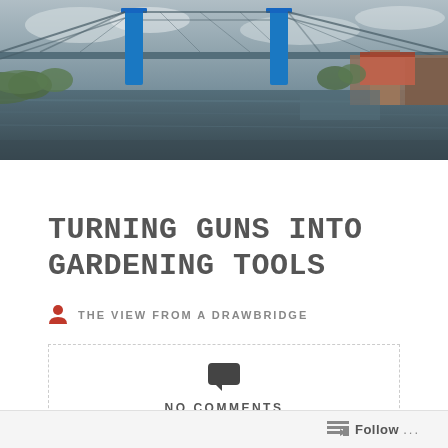[Figure (photo): Aerial/elevated photograph of a city drawbridge over a river with steel blue pylons, buildings and waterfront visible in background, overcast sky.]
TURNING GUNS INTO GARDENING TOOLS
THE VIEW FROM A DRAWBRIDGE
NO COMMENTS
AUGUST 5, 2019
Follow